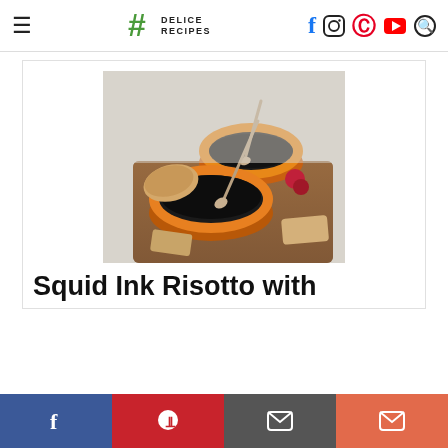# DELICE RECIPES — navigation header with social icons: Facebook, Instagram, Pinterest, YouTube, Search
[Figure (photo): Two halved squash/pumpkin bowls filled with dark squid ink risotto, silver spoons inserted, served on a wooden board with bread pieces and red berries around them, light background.]
Squid Ink Risotto with
[Figure (infographic): Bottom share bar with four buttons: Facebook (blue), Pinterest (red), Email/envelope (dark gray), Email/envelope (orange-red)]